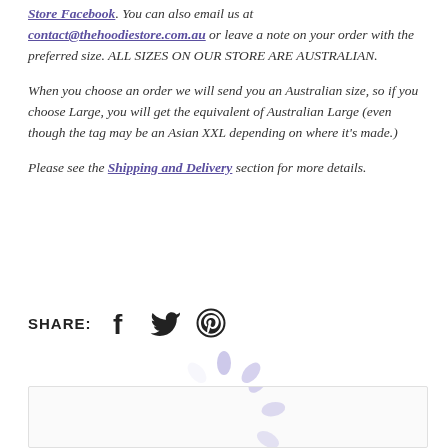Store Facebook. You can also email us at contact@thehoodiestore.com.au or leave a note on your order with the preferred size. ALL SIZES ON OUR STORE ARE AUSTRALIAN.
When you choose an order we will send you an Australian size, so if you choose Large, you will get the equivalent of Australian Large (even though the tag may be an Asian XXL depending on where it's made.)
Please see the Shipping and Delivery section for more details.
SHARE: